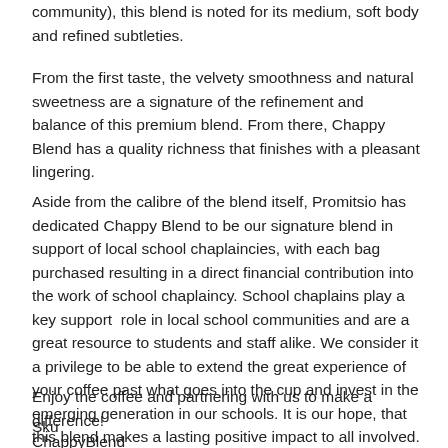community), this blend is noted for its medium, soft body and refined subtleties.
From the first taste, the velvety smoothness and natural sweetness are a signature of the refinement and balance of this premium blend. From there, Chappy Blend has a quality richness that finishes with a pleasant lingering.
Aside from the calibre of the blend itself, Promitsio has dedicated Chappy Blend to be our signature blend in support of local school chaplaincies, with each bag purchased resulting in a direct financial contribution into the work of school chaplaincy. School chaplains play a key support  role in local school communities and are a great resource to students and staff alike. We consider it a privilege to be able to extend the great experience of your coffee past what goes into the cup and invest in the emerging generation in our schools. It is our hope, that this blend makes a lasting positive impact to all involved.
Enjoy the coffee and partnering with us to make a difference!
Sku
ChappyBlend